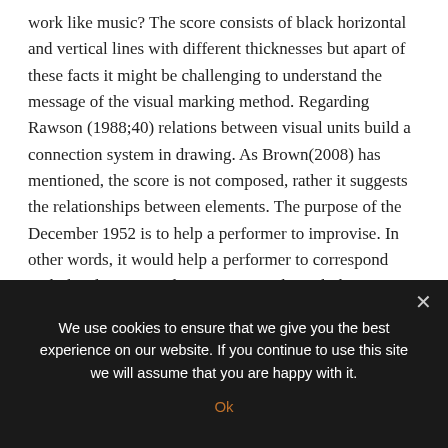work like music? The score consists of black horizontal and vertical lines with different thicknesses but apart of these facts it might be challenging to understand the message of the visual marking method. Regarding Rawson (1988;40) relations between visual units build a connection system in drawing. As Brown(2008) has mentioned, the score is not composed, rather it suggests the relationships between elements. The purpose of the December 1952 is to help a performer to improvise. In other words, it would help a performer to correspond with the elements and communicate through their own inner poetism, as Brown described.(Brown 2008) Indeed,
We use cookies to ensure that we give you the best experience on our website. If you continue to use this site we will assume that you are happy with it.
Ok